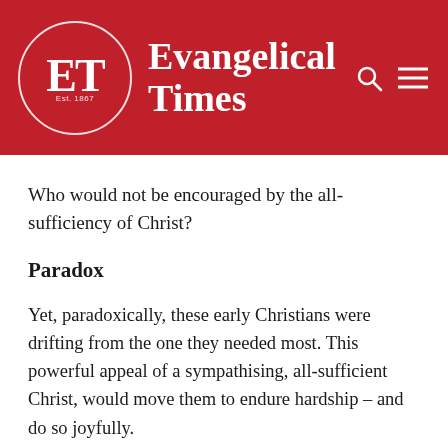Evangelical Times
Who would not be encouraged by the all-sufficiency of Christ?
Paradox
Yet, paradoxically, these early Christians were drifting from the one they needed most. This powerful appeal of a sympathising, all-sufficient Christ, would move them to endure hardship – and do so joyfully.
The same truths apply to Christian living or their faith, some to the point of death. How troubled soul to have a sympathetic Christ so near! One able to